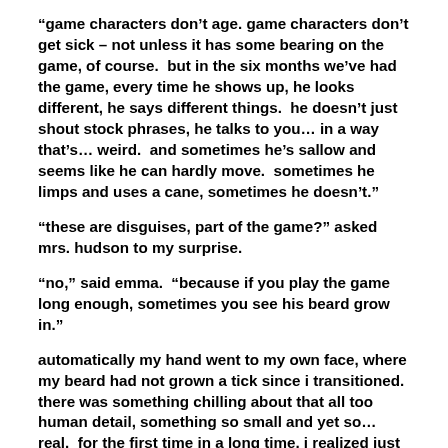“game characters don’t age. game characters don’t get sick – not unless it has some bearing on the game, of course.  but in the six months we’ve had the game, every time he shows up, he looks different, he says different things.  he doesn’t just shout stock phrases, he talks to you… in a way that’s… weird.  and sometimes he’s sallow and seems like he can hardly move.  sometimes he limps and uses a cane, sometimes he doesn’t.”
“these are disguises, part of the game?” asked mrs. hudson to my surprise.
“no,” said emma.  “because if you play the game long enough, sometimes you see his beard grow in.”
automatically my hand went to my own face, where my beard had not grown a tick since i transitioned.  there was something chilling about that all too human detail, something so small and yet so…real.  for the first time in a long time, i realized just how cold i really